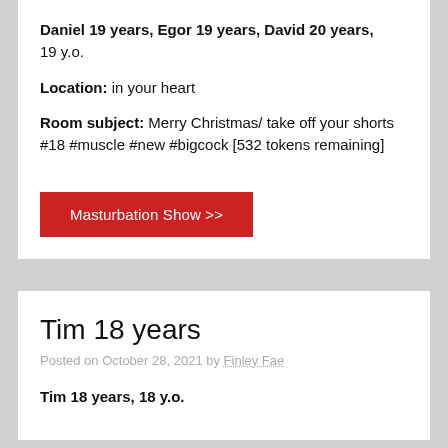Daniel 19 years, Egor 19 years, David 20 years, 19 y.o.
Location: in your heart
Room subject: Merry Christmas/ take off your shorts #18 #muscle #new #bigcock [532 tokens remaining]
Masturbation Show >>
Tim 18 years
Posted on October 28, 2021 by Finley Fae
Tim 18 years, 18 y.o.